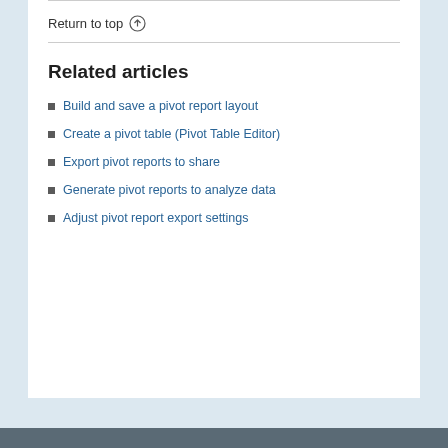Return to top ↑
Related articles
Build and save a pivot report layout
Create a pivot table (Pivot Table Editor)
Export pivot reports to share
Generate pivot reports to analyze data
Adjust pivot report export settings